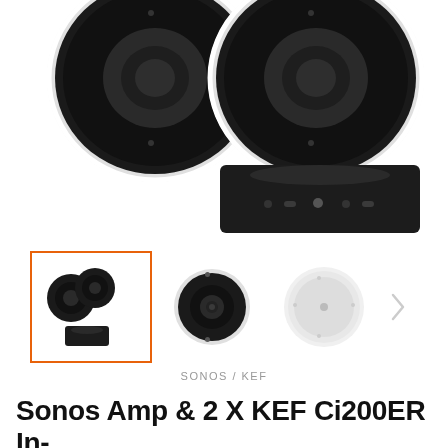[Figure (photo): Two KEF Ci200ER in-ceiling speakers (black circular driver view) and Sonos Amp (black rectangular unit) product photo on white background]
[Figure (photo): Thumbnail row: first thumbnail (selected, orange border) shows two speakers and Sonos Amp; second thumbnail shows single KEF speaker front view; third thumbnail shows white in-ceiling speaker grille front view; right arrow navigation indicator]
SONOS / KEF
Sonos Amp & 2 X KEF Ci200ER In-